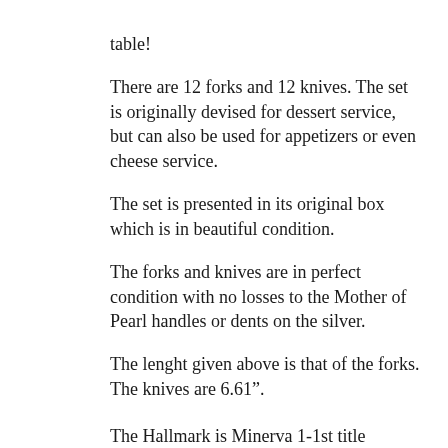table! There are 12 forks and 12 knives. The set is originally devised for dessert service, but can also be used for appetizers or even cheese service. The set is presented in its original box which is in beautiful condition. The forks and knives are in perfect condition with no losses to the Mother of Pearl handles or dents on the silver. The lenght given above is that of the forks. The knives are 6.61". The Hallmark is Minerva 1-1st title (950/1000)- 1838 -1919 – Paris The Makers Mark shows an A and a G separated by a coat of arms with a crown on